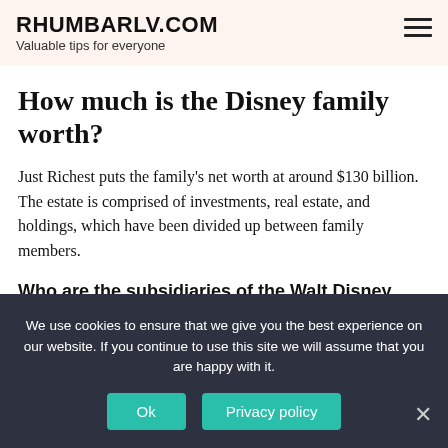RHUMBARLV.COM
Valuable tips for everyone
How much is the Disney family worth?
Just Richest puts the family's net worth at around $130 billion. The estate is comprised of investments, real estate, and holdings, which have been divided up between family members.
Who are the subsidiaries of the Walt Disney Company?
TrueX: Sold to Gimbal, Inc. in 2020. Walt Disney Studios Sony Pictures Releasing…
We use cookies to ensure that we give you the best experience on our website. If you continue to use this site we will assume that you are happy with it.